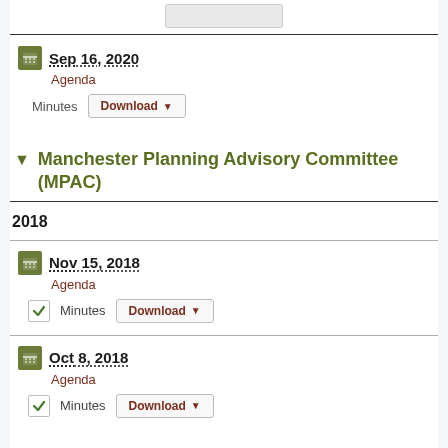Sep 16, 2020 Agenda | Minutes Download
Manchester Planning Advisory Committee (MPAC)
2018
Nov 15, 2018 Agenda | Minutes Download
Oct 8, 2018 Agenda | Minutes Download